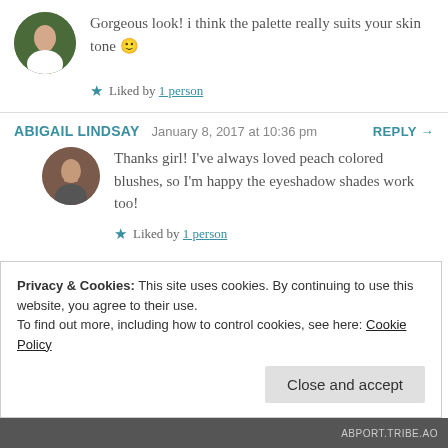Gorgeous look! i think the palette really suits your skin tone 🙂
Liked by 1 person
ABIGAIL LINDSAY  January 8, 2017 at 10:36 pm  REPLY →
Thanks girl! I've always loved peach colored blushes, so I'm happy the eyeshadow shades work too!
Liked by 1 person
Privacy & Cookies: This site uses cookies. By continuing to use this website, you agree to their use. To find out more, including how to control cookies, see here: Cookie Policy